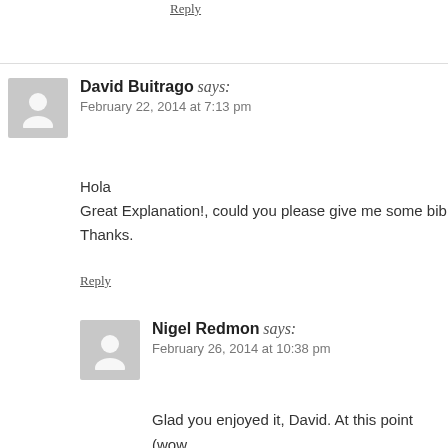Reply
David Buitrago says:
February 22, 2014 at 7:13 pm
Hola
Great Explanation!, could you please give me some bib...
Thanks.
Reply
Nigel Redmon says:
February 26, 2014 at 10:38 pm
Glad you enjoyed it, David. At this point (wow... the same thing you'd do in looking for good m... have a video on dither that I just need to finish... be posted soon…